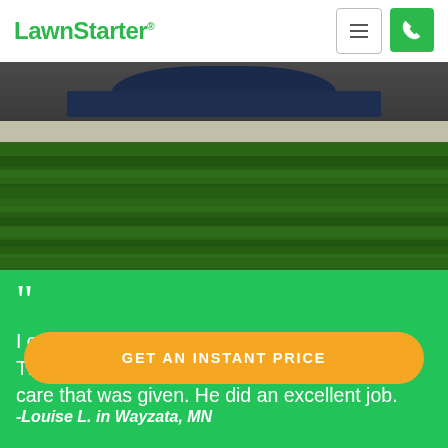LawnStarter
[Figure (photo): Freshly mowed lawn with a driveway and car visible in the background. Dark green grass with mowing stripes.]
““ I came home yesterday to my lawn being cut. The lawn looks great and I do appreciate the care that was given. He did an excellent job.
-Louise L. in Wayzata, MN